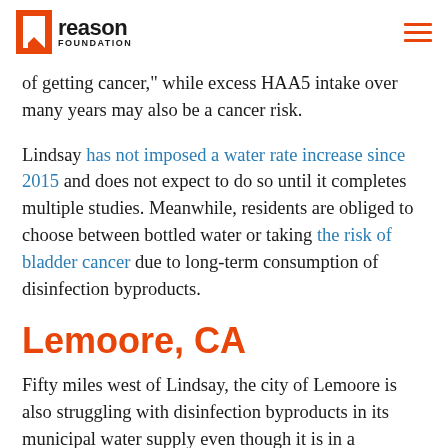Reason Foundation
of getting cancer," while excess HAA5 intake over many years may also be a cancer risk.
Lindsay has not imposed a water rate increase since 2015 and does not expect to do so until it completes multiple studies. Meanwhile, residents are obliged to choose between bottled water or taking the risk of bladder cancer due to long-term consumption of disinfection byproducts.
Lemoore, CA
Fifty miles west of Lindsay, the city of Lemoore is also struggling with disinfection byproducts in its municipal water supply even though it is in a